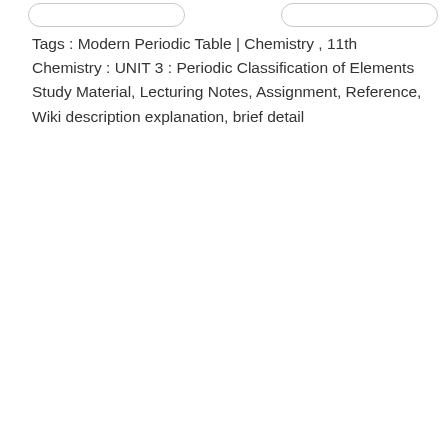Tags : Modern Periodic Table | Chemistry , 11th Chemistry : UNIT 3 : Periodic Classification of Elements Study Material, Lecturing Notes, Assignment, Reference, Wiki description explanation, brief detail